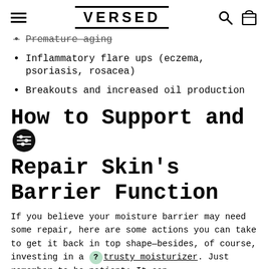VERSED
Premature aging
Inflammatory flare ups (eczema, psoriasis, rosacea)
Breakouts and increased oil production
How to Support and Repair Skin's Barrier Function
If you believe your moisture barrier may need some repair, here are some actions you can take to get it back in top shape—besides, of course, investing in a trusty moisturizer. Just remember to be patient: It can